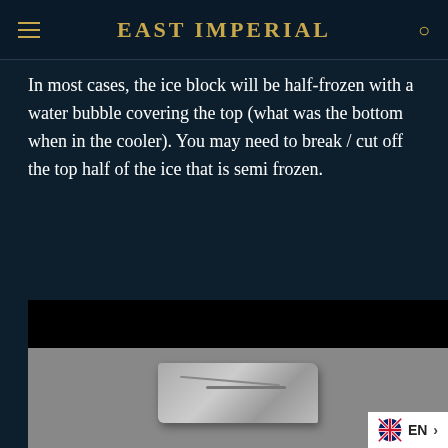EAST IMPERIAL
In most cases, the ice block will be half-frozen with a water bubble covering the top (what was the bottom when in the cooler). You may need to break / cut off the top half of the ice that is semi frozen.
[Figure (photo): Black and white photograph showing a block of ice being cut or broken, with a grey background and a black stripe at the top of the image area.]